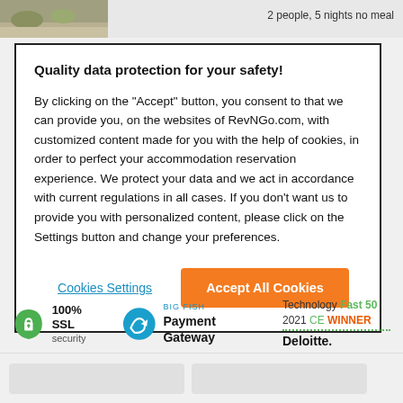2 people, 5 nights no meal
Quality data protection for your safety!
By clicking on the “Accept” button, you consent to that we can provide you, on the websites of RevNGo.com, with customized content made for you with the help of cookies, in order to perfect your accommodation reservation experience. We protect your data and we act in accordance with current regulations in all cases. If you don’t want us to provide you with personalized content, please click on the Settings button and change your preferences.
Cookies Settings
Accept All Cookies
[Figure (logo): 100% SSL security shield logo in green]
[Figure (logo): BIG FISH Payment Gateway logo in blue/teal]
[Figure (logo): Deloitte Technology Fast 50 2021 CE Winner badge]